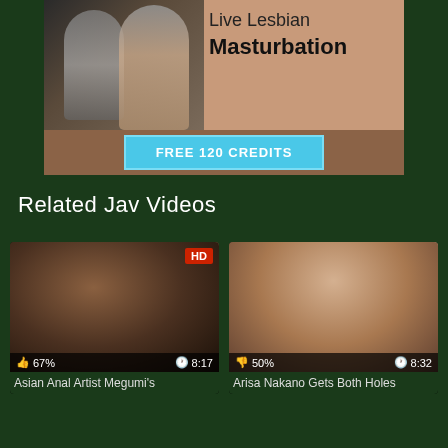[Figure (illustration): Adult advertisement banner with two women and text 'Live Lesbian Masturbation' with a 'FREE 120 CREDITS' button]
Related Jav Videos
[Figure (photo): Video thumbnail for 'Asian Anal Artist Megumi's' with 67% rating and 8:17 duration, HD badge]
Asian Anal Artist Megumi's
[Figure (photo): Video thumbnail for 'Arisa Nakano Gets Both Holes' with 50% rating and 8:32 duration]
Arisa Nakano Gets Both Holes